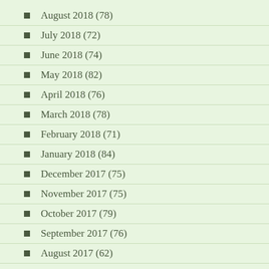August 2018 (78)
July 2018 (72)
June 2018 (74)
May 2018 (82)
April 2018 (76)
March 2018 (78)
February 2018 (71)
January 2018 (84)
December 2017 (75)
November 2017 (75)
October 2017 (79)
September 2017 (76)
August 2017 (62)
July 2017 (63)
June 2017 (62)